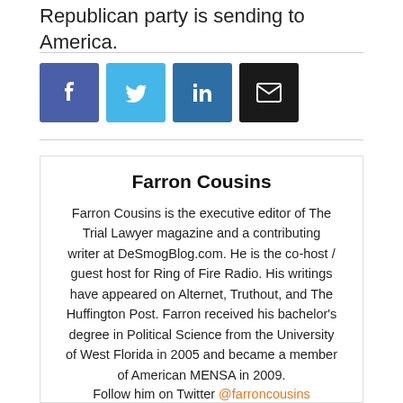Republican party is sending to America.
[Figure (infographic): Social share buttons: Facebook (blue), Twitter (light blue), LinkedIn (dark blue), Email (black)]
Farron Cousins
Farron Cousins is the executive editor of The Trial Lawyer magazine and a contributing writer at DeSmogBlog.com. He is the co-host / guest host for Ring of Fire Radio. His writings have appeared on Alternet, Truthout, and The Huffington Post. Farron received his bachelor's degree in Political Science from the University of West Florida in 2005 and became a member of American MENSA in 2009. Follow him on Twitter @farroncousins